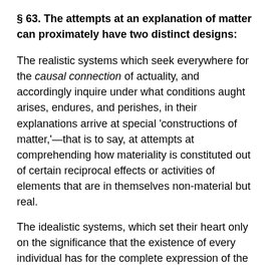§ 63. The attempts at an explanation of matter can proximately have two distinct designs:
The realistic systems which seek everywhere for the causal connection of actuality, and accordingly inquire under what conditions aught arises, endures, and perishes, in their explanations arrive at special 'constructions of matter,'—that is to say, at attempts at comprehending how materiality is constituted out of certain reciprocal effects or activities of elements that are in themselves non-material but real.
The idealistic systems, which set their heart only on the significance that the existence of every individual has for the complete expression of the one comprehensive World-Idea, arrive merely at 'deductions of matter';—that is to say, they show that the existence of matter is indispensable, if the aforesaid World-Idea is to attain